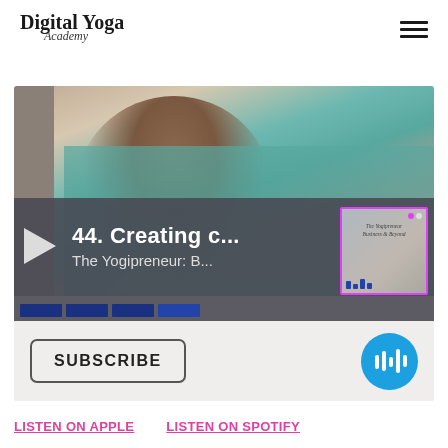Digital Yoga Academy
[Figure (screenshot): Podcast player embed showing a smiling woman lying on a bed with colorful pillows, with player controls showing episode '44. Creating c...' from 'The Yogipreneur: B...' podcast, play button, progress bars, and a thumbnail of the podcast cover art]
SUBSCRIBE
LISTEN ON APPLE
LISTEN ON SPOTIFY